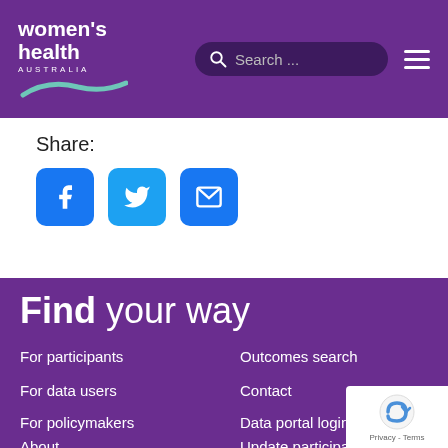[Figure (screenshot): Women's Health Australia website header with purple background, logo, search bar, and hamburger menu]
Share:
[Figure (infographic): Social share buttons: Facebook (blue), Twitter (blue), Email (blue)]
Find your way
For participants
Outcomes search
For data users
Contact
For policymakers
Data portal login
About
Update participant details